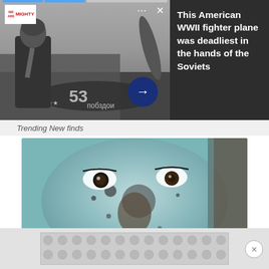[Figure (screenshot): Advertisement banner showing a WWII fighter plane with a Soviet pilot in black and white photo. Has a logo in top-left, dots menu and X close button at top-right, a blue circular arrow button, and a progress bar at the top.]
This American WWII fighter plane was deadliest in the hands of the Soviets
Trending New finds
[Figure (photo): Close-up photo of a person's face covered with a blue/grey clay or charcoal face mask, with dark spots visible. The person's brown eyes are prominently visible. Their hand is partially visible at the bottom.]
[Figure (screenshot): Bottom advertisement area with a repeating circular dot pattern on a grey background, with a small close button circle on the right.]